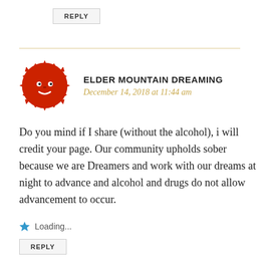REPLY
[Figure (other): Red decorative circular avatar icon with a face design, used as a commenter profile picture]
ELDER MOUNTAIN DREAMING
December 14, 2018 at 11:44 am
Do you mind if I share (without the alcohol), i will credit your page. Our community upholds sober because we are Dreamers and work with our dreams at night to advance and alcohol and drugs do not allow advancement to occur.
Loading...
REPLY